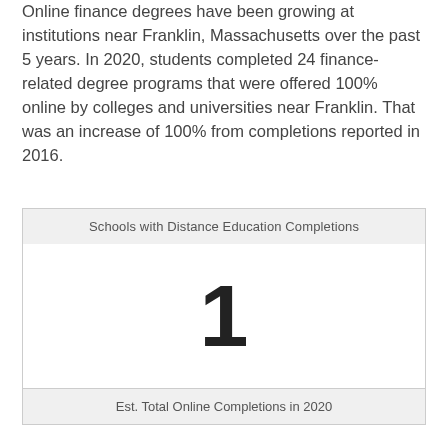Online finance degrees have been growing at institutions near Franklin, Massachusetts over the past 5 years. In 2020, students completed 24 finance-related degree programs that were offered 100% online by colleges and universities near Franklin. That was an increase of 100% from completions reported in 2016.
| Schools with Distance Education Completions |
| --- |
| 1 |
| Est. Total Online Completions in 2020 |